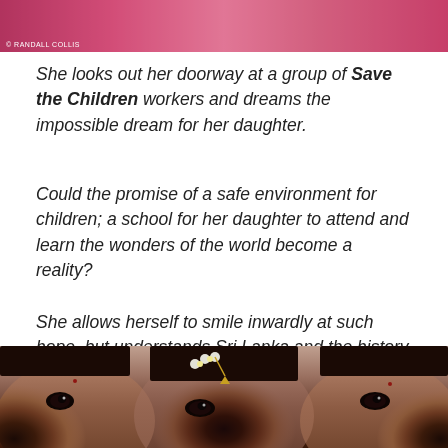[Figure (photo): Top portion of a photo showing colorful clothing in pink and red tones with a photo credit reading © Randall Collis]
© Randall Collis
She looks out her doorway at a group of Save the Children workers and dreams the impossible dream for her daughter.
Could the promise of a safe environment for children; a school for her daughter to attend and learn the wonders of the world become a reality?
She allows herself to smile inwardly at such hope, but understands Sri Lanka and the history and culture of her people all to well to put such faith into the future.
[Figure (photo): Close-up photo of faces of Sri Lankan women/children, showing eyes and foreheads, one with white flowers in hair and a gold ornament]